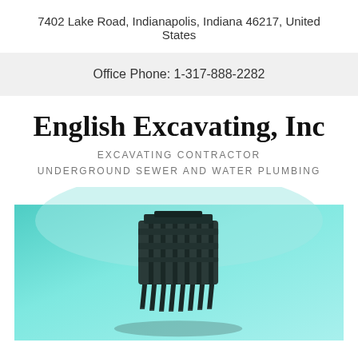7402 Lake Road, Indianapolis, Indiana 46217, United States
Office Phone: 1-317-888-2282
English Excavating, Inc
EXCAVATING CONTRACTOR
UNDERGROUND SEWER AND WATER PLUMBING
[Figure (photo): Photo of a heavy excavating machine bucket/teeth attachment against a teal/turquoise gradient background]